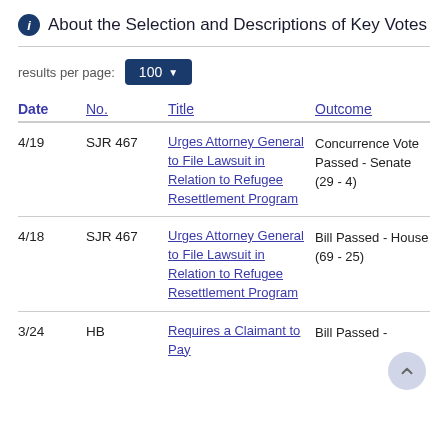About the Selection and Descriptions of Key Votes
results per page: 100
| Date | No. | Title | Outcome |
| --- | --- | --- | --- |
| 4/19 | SJR 467 | Urges Attorney General to File Lawsuit in Relation to Refugee Resettlement Program | Concurrence Vote Passed - Senate (29 - 4) |
| 4/18 | SJR 467 | Urges Attorney General to File Lawsuit in Relation to Refugee Resettlement Program | Bill Passed - House (69 - 25) |
| 3/24 | HB | Requires a Claimant to Pay | Bill Passed - |